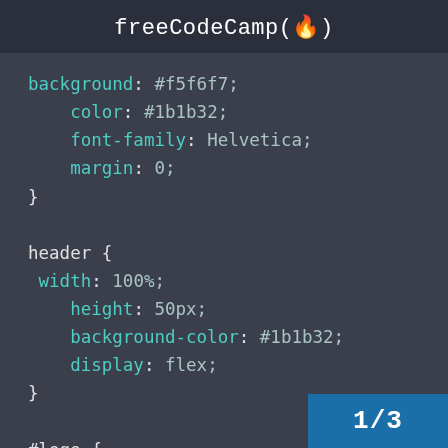freeCodeCamp(🔥)
background: #f5f6f7;
    color: #1b1b32;
    font-family: Helvetica;
    margin: 0;
}

header {
 width: 100%;
    height: 50px;
    background-color: #1b1b32;
    display: flex;
}

#logo {
 width: max(100px, 18vw);
1/3